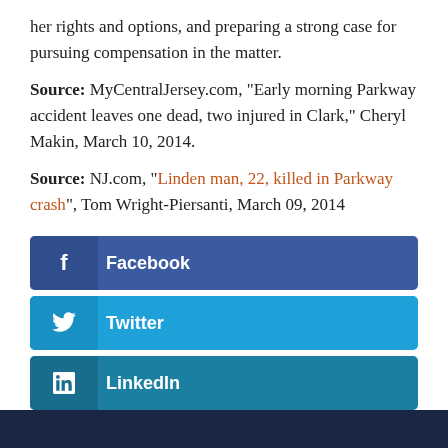her rights and options, and preparing a strong case for pursuing compensation in the matter.
Source: MyCentralJersey.com, “Early morning Parkway accident leaves one dead, two injured in Clark,” Cheryl Makin, March 10, 2014.
Source: NJ.com, “Linden man, 22, killed in Parkway crash”, Tom Wright-Piersanti, March 09, 2014
[Figure (infographic): Social share buttons for Facebook, Twitter, and LinkedIn]
[Figure (other): Dark navy bottom bar/footer]